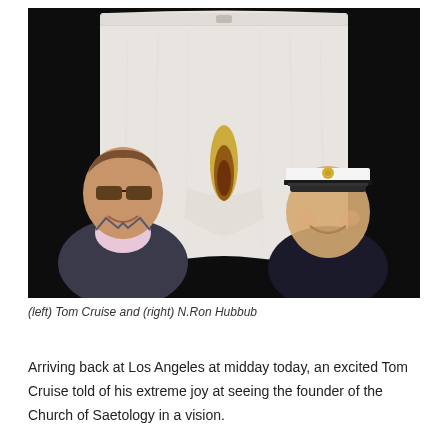[Figure (photo): A composite photo showing two men (Tom Cruise on the left wearing sunglasses and a suit, N. Ron Hubbub on the right wearing a naval captain's hat and uniform) in front of a large white pair of underwear/shorts displayed against a black background. The underwear has a brown/yellow stain mark on it.]
(left) Tom Cruise and (right) N.Ron Hubbub
Arriving back at Los Angeles at midday today, an excited Tom Cruise told of his extreme joy at seeing the founder of the Church of Saetology in a vision.